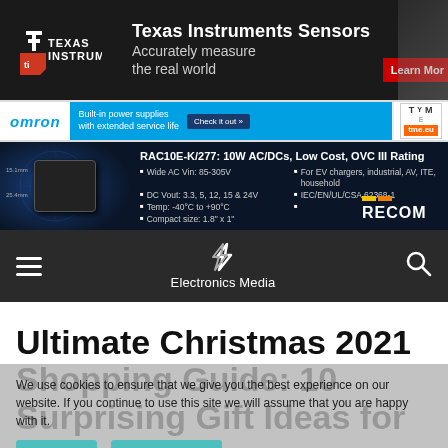[Figure (screenshot): Texas Instruments Sensors advertisement banner. Dark background with TI logo on left, bold white text 'Texas Instruments Sensors / Accurately measure the real world', red 'Learn More' button on right.]
[Figure (screenshot): Omron advertisement banner with blue logo, TME banner on right side. Text: Built-in power supplies with extended service life.]
[Figure (screenshot): RECOM advertisement banner for RAC10E-K/277: 10W AC/DCs, Low Cost, OVC III Rating. Specs: Wide AC Vin 85-305V, DC Vout 3.3/5/12/15/24V, Temp -40°C to +90°C, Compact size 1.8" x 1". For EV chargers, industrial, AV, ITE, household. IEC/EN/UL/CSA 62368-1.]
[Figure (screenshot): Electronics Media website navigation bar with hamburger menu, logo, site name 'Electronics Media', and search icon on dark background.]
Ultimate Christmas 2021 Shopping Guide: 10 Surprising Gift Ideas for All Budgets
We use cookies to ensure that we give you the best experience on our website. If you continue to use this site we will assume that you are happy with it.